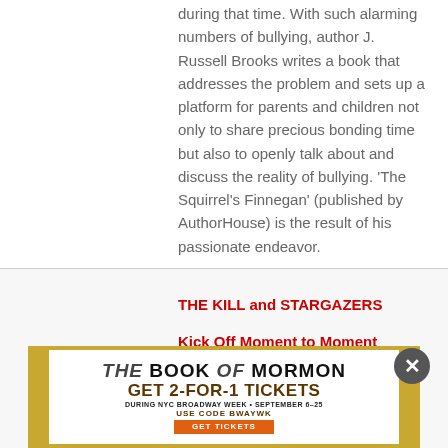during that time. With such alarming numbers of bullying, author J. Russell Brooks writes a book that addresses the problem and sets up a platform for parents and children not only to share precious bonding time but also to openly talk about and discuss the reality of bullying. 'The Squirrel's Finnegan' (published by AuthorHouse) is the result of his passionate endeavor.
THE KILL and STARGAZERS
Kick Off Moment to Moment
[Figure (screenshot): Advertisement for The Book of Mormon Broadway show: 'GET 2-FOR-1 TICKETS DURING NYC BROADWAY WEEK · SEPTEMBER 6–25 USE CODE BWAYWK GET TICKETS' with gold decorative border and close button]